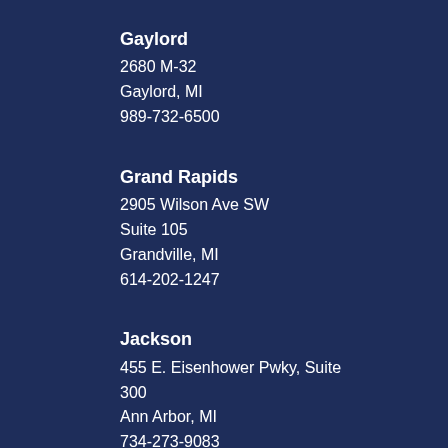Gaylord
2680 M-32
Gaylord, MI
989-732-6500
Grand Rapids
2905 Wilson Ave SW
Suite 105
Grandville, MI
614-202-1247
Jackson
455 E. Eisenhower Pwky, Suite 300
Ann Arbor, MI
734-273-9083